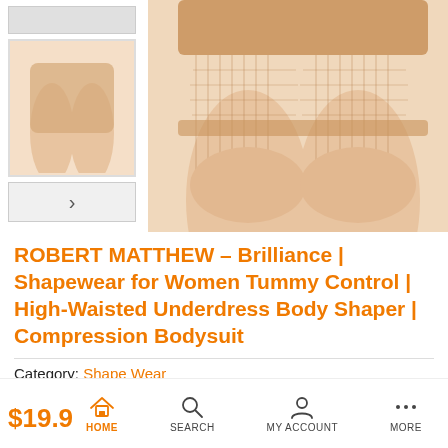[Figure (photo): Product image showing shapewear shorts worn on legs against neutral background, with thumbnail navigation on left side]
ROBERT MATTHEW – Brilliance | Shapewear for Women Tummy Control | High-Waisted Underdress Body Shaper | Compression Bodysuit
Category: Shape Wear
Share Link:
HOME  SEARCH  MY ACCOUNT  MORE